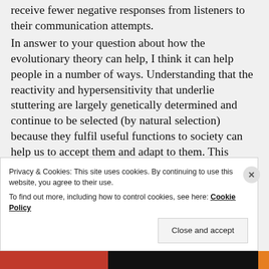receive fewer negative responses from listeners to their communication attempts.
In answer to your question about how the evolutionary theory can help, I think it can help people in a number of ways. Understanding that the reactivity and hypersensitivity that underlie stuttering are largely genetically determined and continue to be selected (by natural selection) because they fulfil useful functions to society can help us to accept them and adapt to them. This understanding can also help us to be pragmatic in our communication attempts, and to identify and avoid situations
Privacy & Cookies: This site uses cookies. By continuing to use this website, you agree to their use.
To find out more, including how to control cookies, see here: Cookie Policy
Close and accept